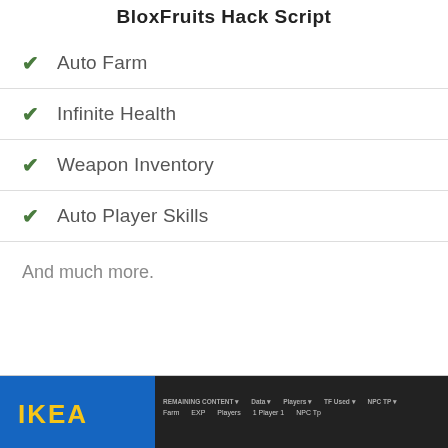BloxFruits Hack Script
Auto Farm
Infinite Health
Weapon Inventory
Auto Player Skills
And much more.
[Figure (screenshot): Screenshot of a game hack/cheat menu UI overlay showing columns for REMAINING CONTENT, Data, Players, TF Used, NPC TP with input fields below. A person wearing a blue IKEA cap is partially visible on the left side.]